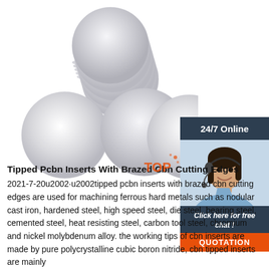[Figure (photo): Stack of round white/light grey ceramic or CBN disc inserts scattered on a white background. Multiple discs arranged in a triangular/scattered pattern showing both stacked discs and individual flat discs.]
[Figure (photo): Customer service representative woman with headset smiling, used for 24/7 online chat support widget. Dark blue header with '24/7 Online', photo of agent, dark blue footer with 'Click here for free chat !', orange QUOTATION button.]
Tipped Pcbn Inserts With Brazed Cbn Cutting Edges
2021-7-20u2002·u2002tipped pcbn inserts with brazed cbn cutting edges are used for machining ferrous hard metals such as nodular cast iron, hardened steel, high speed steel, die steel, bearing steel, cemented steel, heat resisting steel, carbon tool steel, chromium and nickel molybdenum alloy. the working tips of cbn inserts are made by pure polycrystalline cubic boron nitride, cbn tipped inserts are mainly